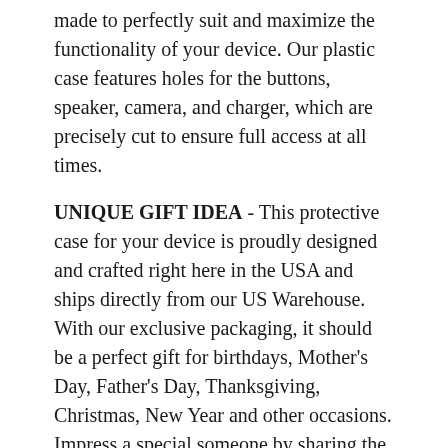made to perfectly suit and maximize the functionality of your device. Our plastic case features holes for the buttons, speaker, camera, and charger, which are precisely cut to ensure full access at all times.
UNIQUE GIFT IDEA - This protective case for your device is proudly designed and crafted right here in the USA and ships directly from our US Warehouse. With our exclusive packaging, it should be a perfect gift for birthdays, Mother's Day, Father's Day, Thanksgiving, Christmas, New Year and other occasions. Impress a special someone by sharing the 3D textured case.
Real Reviews From Real Customers
★★★★★ 4941 Reviews
★★★★★ 07/16/22
Loved this so much from